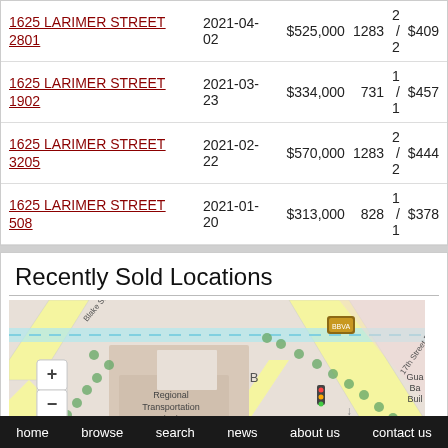| Address | Date | Price | SqFt | Bed/Bath | $/SqFt |
| --- | --- | --- | --- | --- | --- |
| 1625 LARIMER STREET 2801 | 2021-04-02 | $525,000 | 1283 | 2 / 2 | $409 |
| 1625 LARIMER STREET 1902 | 2021-03-23 | $334,000 | 731 | 1 / 1 | $457 |
| 1625 LARIMER STREET 3205 | 2021-02-22 | $570,000 | 1283 | 2 / 2 | $444 |
| 1625 LARIMER STREET 508 | 2021-01-20 | $313,000 | 828 | 1 / 1 | $378 |
Recently Sold Locations
[Figure (map): Street map showing recently sold locations near 1625 Larimer Street, Denver, CO. Shows Blake Street, 17th Street Paseo, Market Street, Regional Transportation District building, BBVA bank, and Guaranty Bank Building.]
home   browse   search   news   about us   contact us